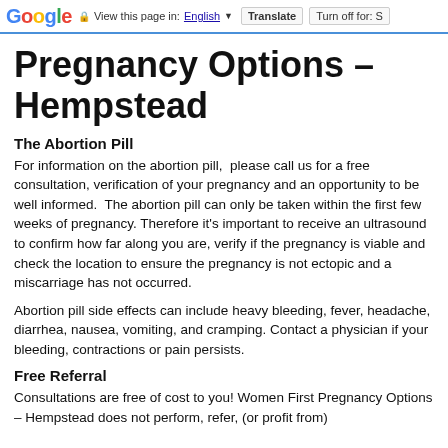Google | View this page in: English [▼] | Translate | Turn off for: S
Pregnancy Options – Hempstead
The Abortion Pill
For information on the abortion pill,  please call us for a free consultation, verification of your pregnancy and an opportunity to be well informed.  The abortion pill can only be taken within the first few weeks of pregnancy. Therefore it's important to receive an ultrasound to confirm how far along you are, verify if the pregnancy is viable and check the location to ensure the pregnancy is not ectopic and a miscarriage has not occurred.
Abortion pill side effects can include heavy bleeding, fever, headache, diarrhea, nausea, vomiting, and cramping. Contact a physician if your bleeding, contractions or pain persists.
Free Referral
Consultations are free of cost to you! Women First Pregnancy Options – Hempstead does not perform, refer, (or profit from)